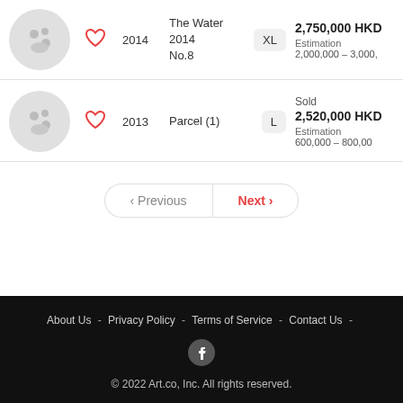2014 | The Water 2014 No.8 | XL | 2,750,000 HKD | Estimation 2,000,000 – 3,000,000
2013 | Parcel (1) | L | Sold 2,520,000 HKD | Estimation 600,000 – 800,000
< Previous   Next >
About Us - Privacy Policy - Terms of Service - Contact Us - © 2022 Art.co, Inc. All rights reserved.